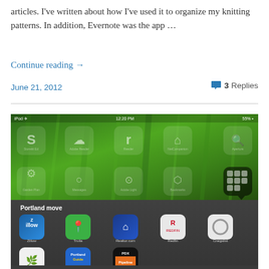articles. I've written about how I've used it to organize my knitting patterns. In addition, Evernote was the app …
Continue reading →
June 21, 2012
3 Replies
[Figure (screenshot): iPad screenshot showing a 'Portland move' folder open with apps: Zillow, Trulia, Realtor.com, Redfin, Craigslist, PadMapper, Portland Guide, PDXPipeline. Background shows green grass wallpaper with app icons visible behind a frosted panel.]